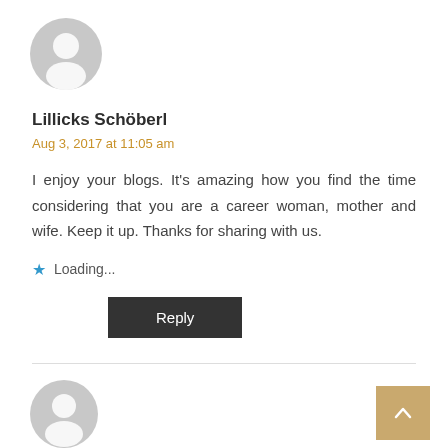[Figure (illustration): Gray default avatar circle icon at top left]
Lillicks Schöberl
Aug 3, 2017 at 11:05 am
I enjoy your blogs. It's amazing how you find the time considering that you are a career woman, mother and wife. Keep it up. Thanks for sharing with us.
★ Loading...
Reply
[Figure (illustration): Gray default avatar circle icon at bottom left, partially visible]